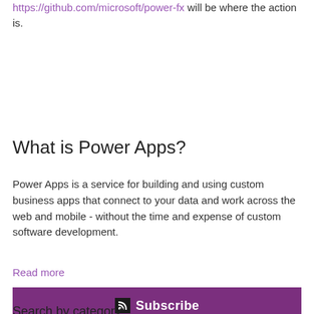https://github.com/microsoft/power-fx will be where the action is.
What is Power Apps?
Power Apps is a service for building and using custom business apps that connect to your data and work across the web and mobile - without the time and expense of custom software development.
Read more
[Figure (other): Subscribe button bar with RSS icon and white text 'Subscribe' on a purple background]
Search by category: